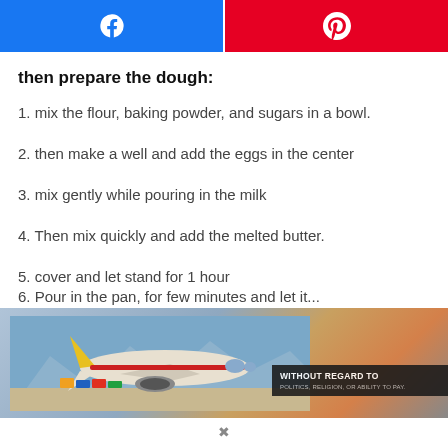[Figure (other): Social share buttons: Facebook (blue) and Pinterest (red)]
then prepare the dough:
1. mix the flour, baking powder, and sugars in a bowl.
2. then make a well and add the eggs in the center
3. mix gently while pouring in the milk
4. Then mix quickly and add the melted butter.
5. cover and let stand for 1 hour
[Figure (photo): Advertisement banner showing an airplane being loaded with cargo. Text overlay reads: WITHOUT REGARD TO POLITICS, RELIGION, OR ABILITY TO PAY.]